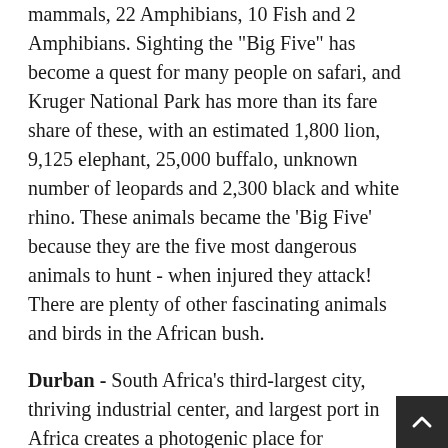mammals, 22 Amphibians, 10 Fish and 2 Amphibians. Sighting the "Big Five" has become a quest for many people on safari, and Kruger National Park has more than its fare share of these, with an estimated 1,800 lion, 9,125 elephant, 25,000 buffalo, unknown number of leopards and 2,300 black and white rhino. These animals became the 'Big Five' because they are the five most dangerous animals to hunt - when injured they attack! There are plenty of other fascinating animals and birds in the African bush.
Durban - South Africa's third-largest city, thriving industrial center, and largest port in Africa creates a photogenic place for meandering or eating and drinking dockside. Durban's second-largest population group, Indians, have mosques, bazaars and temples festooned with wildly colored deities standing juxtaposed to Victorian buildings that mark out the colonial center. The city's main interest lies in reconciling competing Indian, African and English cultures and in keeping rampant vegetation at bay. Admire mosques, explore the Indian